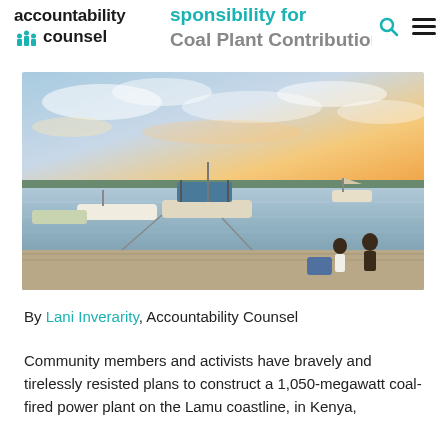accountability counsel — IFC Responsibility for Lamu Coal Plant Contributions
[Figure (photo): Coastal scene at sunset with fishing boats moored on calm water, a distant shoreline, and two children sitting on a dock in the foreground right.]
By Lani Inverarity, Accountability Counsel
Community members and activists have bravely and tirelessly resisted plans to construct a 1,050-megawatt coal-fired power plant on the Lamu coastline, in Kenya,